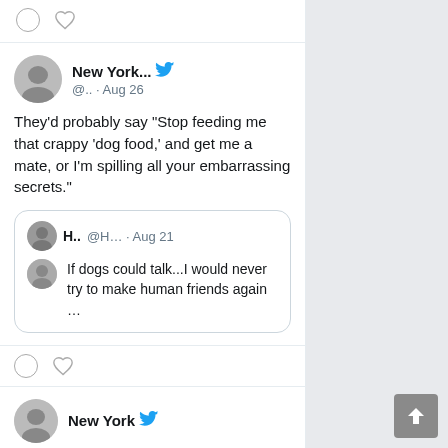[Figure (screenshot): Twitter/X feed screenshot showing tweet interactions (comment and heart icons) at top]
New York... @.. · Aug 26
They'd probably say "Stop feeding me that crappy 'dog food,' and get me a mate, or I'm spilling all your embarrassing secrets."
H.. @H… · Aug 21
If dogs could talk...I would never try to make human friends again …
[Figure (screenshot): Comment and heart action icons below tweet]
New York